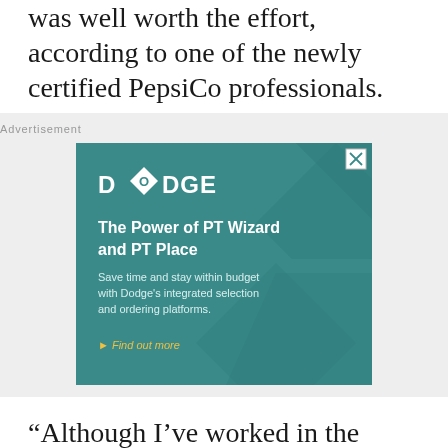was well worth the effort, according to one of the newly certified PepsiCo professionals.
[Figure (infographic): Dodge advertisement banner. Teal/dark cyan background with geometric diamond pattern. DODGE logo in white bold text with diamond shape containing the letter O. Headline: The Power of PT Wizard and PT Place. Body: Save time and stay within budget with Dodge's integrated selection and ordering platforms. Link: Find out more. Close button (X) in top right corner.]
“Although I’ve worked in the packaging industry for over 30 years, and am proficient in